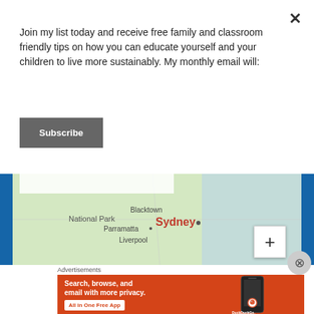Join my list today and receive free family and classroom friendly tips on how you can educate yourself and your children to live more sustainably. My monthly email will:
Subscribe
[Figure (map): Map showing Sydney area including National Park, Blacktown, Parramatta, Liverpool, and Sydney labels with zoom button]
Advertisements
[Figure (screenshot): DuckDuckGo advertisement: Search, browse, and email with more privacy. All in One Free App. Shows a smartphone with DuckDuckGo logo.]